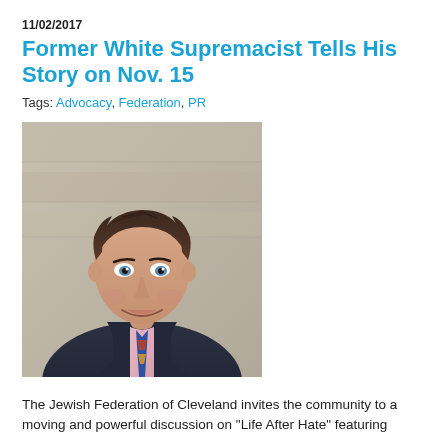11/02/2017
Former White Supremacist Tells His Story on Nov. 15
Tags: Advocacy, Federation, PR
[Figure (photo): Headshot of a smiling middle-aged man with dark hair, wearing a navy blazer, pink shirt, and colorful plaid tie, photographed outdoors.]
The Jewish Federation of Cleveland invites the community to a moving and powerful discussion on “Life After Hate” featuring